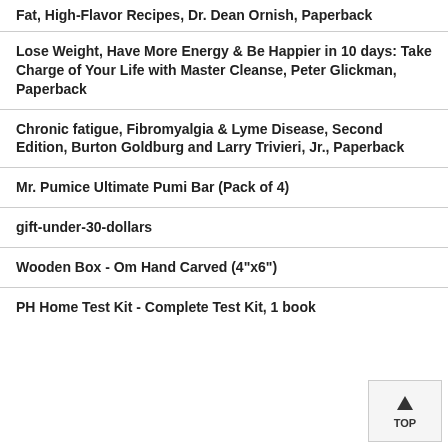Fat, High-Flavor Recipes, Dr. Dean Ornish, Paperback
Lose Weight, Have More Energy & Be Happier in 10 days: Take Charge of Your Life with Master Cleanse, Peter Glickman, Paperback
Chronic fatigue, Fibromyalgia & Lyme Disease, Second Edition, Burton Goldburg and Larry Trivieri, Jr., Paperback
Mr. Pumice Ultimate Pumi Bar (Pack of 4)
gift-under-30-dollars
Wooden Box - Om Hand Carved (4"x6")
PH Home Test Kit - Complete Test Kit, 1 book